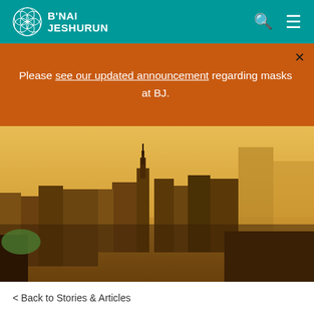B'NAI JESHURUN
Please see our updated announcement regarding masks at BJ.
[Figure (photo): Aerial cityscape of New York City skyline with a warm golden/amber toned filter, showing skyscrapers including the Empire State Building]
< Back to Stories & Articles